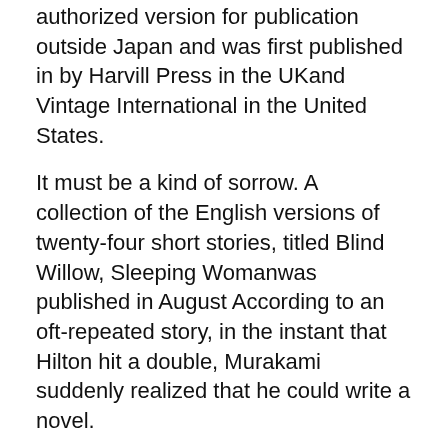authorized version for publication outside Japan and was first published in by Harvill Press in the UKand Vintage International in the United States.
It must be a kind of sorrow. A collection of the English versions of twenty-four short stories, titled Blind Willow, Sleeping Womanwas published in August According to an oft-repeated story, in the instant that Hilton hit a double, Murakami suddenly realized that he could write a novel.
Critics were impressed and the novel landed an important literary prize. An older woman is not necessarily a mother figure, any more than a man dying in the hospital is a fading God, or a new romance a cosmic refutation of a previous one.
Watanabe goes to college, where he is cheered by a skirt-chasing friend with an alluring, long-suffering girlfriend, only to meet Midori, a girl who brings with her sexual freedom, an ailing father, and an overall less melodramatic opportunity for romance.